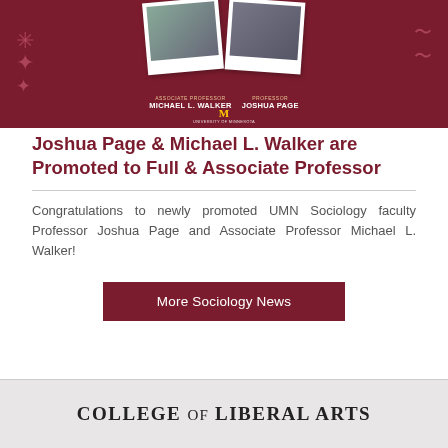[Figure (photo): Dark red banner with two polaroid-style photos of faculty members, name labels reading 'Associate Professor Michael L. Walker' and 'Professor Joshua Page', University of Minnesota M logo and text at bottom, decorative elements on sides.]
Joshua Page & Michael L. Walker are Promoted to Full & Associate Professor
Congratulations to newly promoted UMN Sociology faculty Professor Joshua Page and Associate Professor Michael L. Walker!
More Sociology News
COLLEGE of LIBERAL ARTS